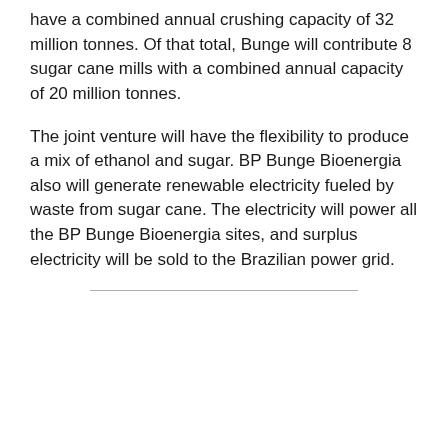have a combined annual crushing capacity of 32 million tonnes. Of that total, Bunge will contribute 8 sugar cane mills with a combined annual capacity of 20 million tonnes.
The joint venture will have the flexibility to produce a mix of ethanol and sugar. BP Bunge Bioenergia also will generate renewable electricity fueled by waste from sugar cane. The electricity will power all the BP Bunge Bioenergia sites, and surplus electricity will be sold to the Brazilian power grid.